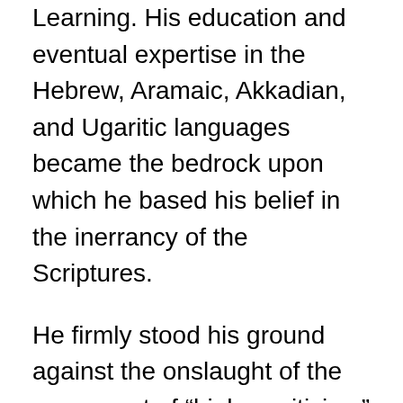Learning. His education and eventual expertise in the Hebrew, Aramaic, Akkadian, and Ugaritic languages became the bedrock upon which he based his belief in the inerrancy of the Scriptures.
He firmly stood his ground against the onslaught of the movement of “higher criticism” that held to an elitist position that attacked the accuracy and the applicability of the Bible in the 20th century. He was able to successfully denounce critics with the illumination he gained from his hours and years of in-depth study and analysis with statements like,